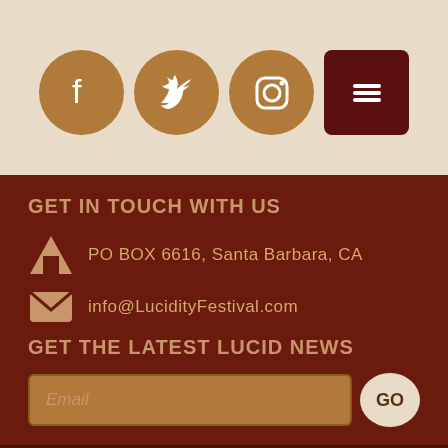[Figure (infographic): Social media icons: Facebook, Twitter, Instagram (tan circles), and a menu hamburger icon (dark red square)]
GET IN TOUCH WITH US
PO BOX 6616, Santa Barbara, CA
info@LucidityFestival.com
GET THE LATEST LUCID NEWS
Email
GO
SHARE:
© Lucidity Festivals, LLC 2011 – 2022. All Rights Reserved. | Powered by Passion & WordPress  Privacy Policy